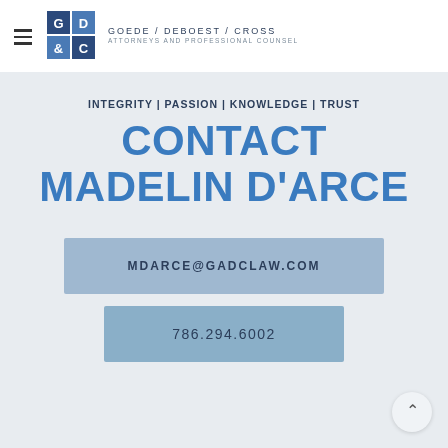[Figure (logo): GD&C logo grid with four colored squares (G, D, &, C) and firm name 'Goede / DeBoest / Cross, Attorneys and Professional Counsel']
INTEGRITY | PASSION | KNOWLEDGE | TRUST
CONTACT MADELIN D'ARCE
MDARCE@GADCLAW.COM
786.294.6002